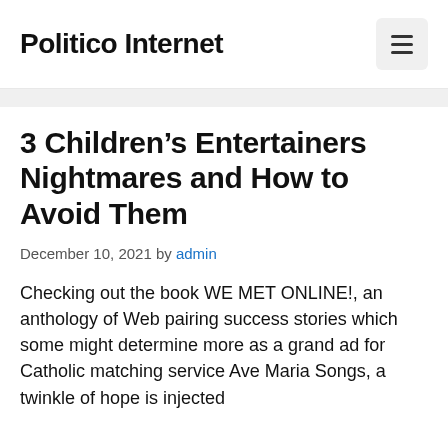Politico Internet
3 Children's Entertainers Nightmares and How to Avoid Them
December 10, 2021 by admin
Checking out the book WE MET ONLINE!, an anthology of Web pairing success stories which some might determine more as a grand ad for Catholic matching service Ave Maria Songs, a twinkle of hope is injected